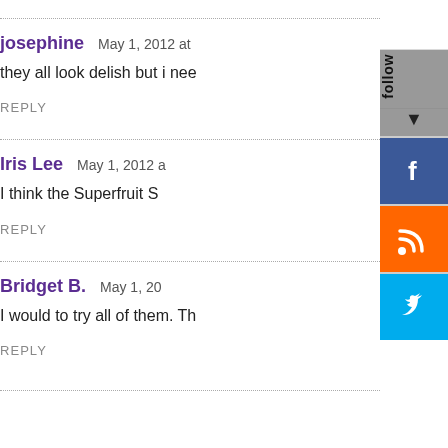josephine   May 1, 2012 at
they all look delish but i nee
REPLY
Iris Lee   May 1, 2012 a
I think the Superfruit S
REPLY
Bridget B.   May 1, 20
I would to try all of them. Th
REPLY
[Figure (screenshot): Social media follow sidebar widget with follow label, Facebook, RSS, and Twitter buttons]